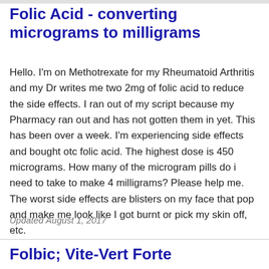Folic Acid - converting micrograms to milligrams
Hello. I'm on Methotrexate for my Rheumatoid Arthritis and my Dr writes me two 2mg of folic acid to reduce the side effects. I ran out of my script because my Pharmacy ran out and has not gotten them in yet. This has been over a week. I'm experiencing side effects and bought otc folic acid. The highest dose is 450 micrograms. How many of the microgram pills do i need to take to make 4 milligrams? Please help me. The worst side effects are blisters on my face that pop and make me look like I got burnt or pick my skin off, etc.
Updated August 1, 2017
Folbic; Vite-Vert Forte